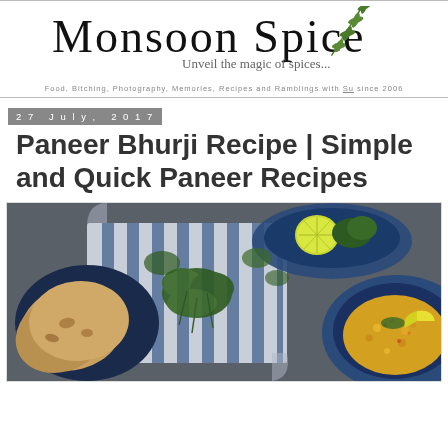Monsoon Spice — Unveil the magic of spices... Food, Bitching, Photography, Memories, Recipes and Ramblings with Su since 2006
27 July, 2017
Paneer Bhurji Recipe | Simple and Quick Paneer Recipes
[Figure (photo): Overhead food photography showing a blue speckled plate with yellow paneer bhurji garnished with lemon wedge, flatbreads/rotis in a dark blue plate on left, fresh coriander/cilantro herbs, a blue bowl with lime half and herbs, all arranged on a blue and white striped cloth on a grey surface.]